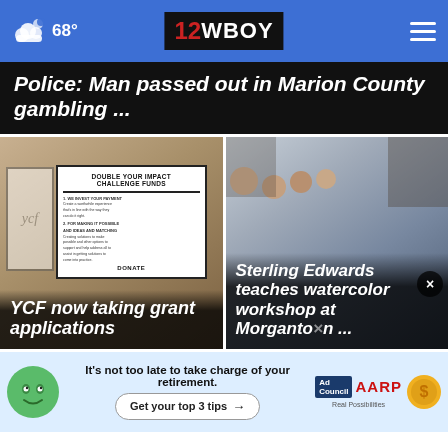68° 12WBOY
Police: Man passed out in Marion County gambling ...
[Figure (photo): Photo of a YCF Double Your Impact Challenge Funds sign]
YCF now taking grant applications
[Figure (photo): Photo of people at watercolor workshop in a library]
Sterling Edwards teaches watercolor workshop at Morgantown ...
[Figure (other): AARP Ad Council advertisement: It's not too late to take charge of your retirement. Get your top 3 tips.]